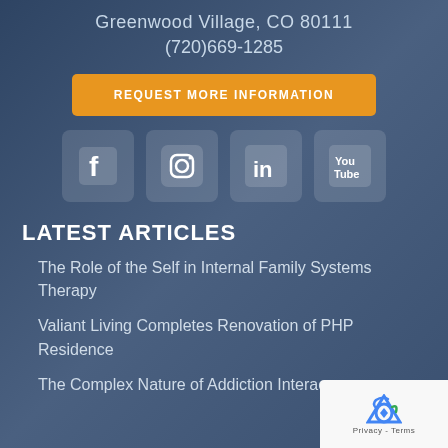Greenwood Village, CO 80111
(720)669-1285
REQUEST MORE INFORMATION
[Figure (infographic): Social media icons: Facebook, Instagram, LinkedIn, YouTube]
LATEST ARTICLES
The Role of the Self in Internal Family Systems Therapy
Valiant Living Completes Renovation of PHP Residence
The Complex Nature of Addiction Interac...